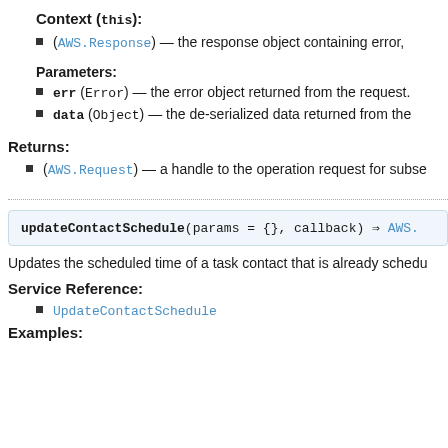Context (this):
(AWS.Response) — the response object containing error,
Parameters:
err (Error) — the error object returned from the request.
data (Object) — the de-serialized data returned from the
Returns:
(AWS.Request) — a handle to the operation request for subse
updateContactSchedule(params = {}, callback) ⇒ AWS.
Updates the scheduled time of a task contact that is already schedu
Service Reference:
UpdateContactSchedule
Examples: